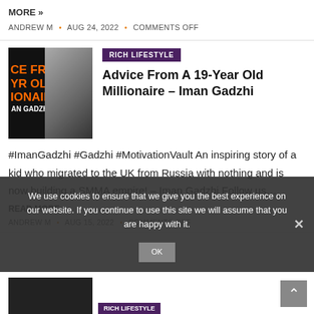MORE »
ANDREW M  •  AUG 24, 2022  •  COMMENTS OFF
[Figure (photo): Book cover thumbnail showing 'Advice From A 19-Year Old Millionaire – Iman Gadzhi' with a young man seated]
RICH LIFESTYLE
Advice From A 19-Year Old Millionaire – Iman Gadzhi
#ImanGadzhi #Gadzhi #MotivationVault An inspiring story of a kid who migrated to the UK from Russia with nothing and is now building a SMMA empire! – Iman Gadzhi Follow us…
READ MORE »
ANDREW M  •  AUG 15, 2022  •  COMMENTS OFF
We use cookies to ensure that we give you the best experience on our website. If you continue to use this site we will assume that you are happy with it.